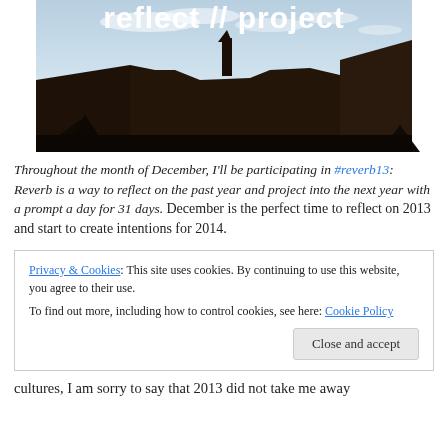[Figure (photo): Banner image for 'reflect // project' showing a desert landscape with mesas and rock formations silhouetted at dusk, with a sky featuring clouds. The title 'reflect // project' appears at the top of the image.]
Throughout the month of December, I'll be participating in #reverb13: Reverb is a way to reflect on the past year and project into the next year with a prompt a day for 31 days. December is the perfect time to reflect on 2013 and start to create intentions for 2014.
Privacy & Cookies: This site uses cookies. By continuing to use this website, you agree to their use.
To find out more, including how to control cookies, see here: Cookie Policy
Close and accept
cultures, I am sorry to say that 2013 did not take me away